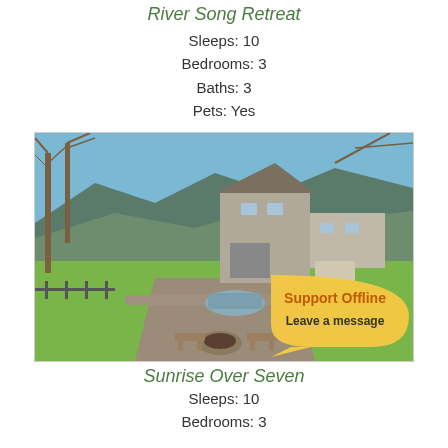River Song Retreat
Sleeps: 10
Bedrooms: 3
Baths: 3
Pets: Yes
[Figure (photo): Aerial/elevated view of a mountain cabin with a car in the driveway, fire pit area, green lawn, and mountain range in the background under a blue sky.]
Sunrise Over Seven
Sleeps: 10